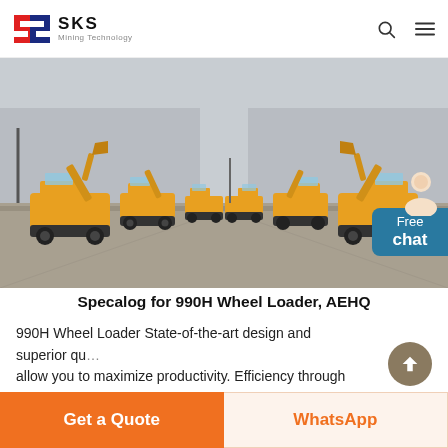SKS Mining Technology
[Figure (photo): Row of yellow wheel excavators/loaders lined up in a factory yard, facing the camera symmetrically, industrial building in background.]
Specalog for 990H Wheel Loader, AEHQ
990H Wheel Loader State-of-the-art design and superior qu... allow you to maximize productivity. Efficiency through
Get a Quote | WhatsApp